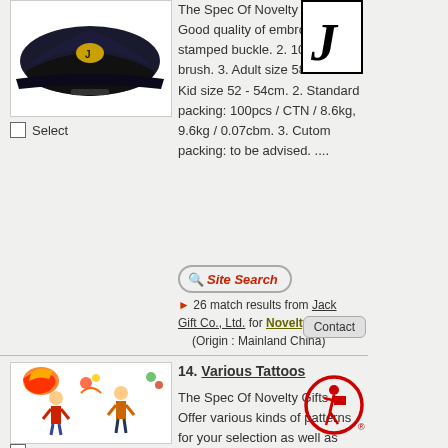[Figure (photo): Black baseball cap product photo]
Select
The Spec Of Novelty Gifts : 1. Good quality of embroidery and stamped buckle. 2. 100% cotton brush. 3. Adult size 58cm. 1. Kid size 52 - 54cm. 2. Standard packing: 100pcs / CTN / 8.6kg, 9.6kg / 0.07cbm. 3. Cutom packing: to be advised. ....
[Figure (logo): J letter logo in black and white]
[Figure (screenshot): Site Search button]
26 match results from Jack Gift Co., Ltd. for Novelty Gifts (Origin : Mainland China)
[Figure (photo): Various tattoos product image with colorful cartoon characters]
Select
14. Various Tattoos
The Spec Of Novelty Gifts : Offer various kinds of patterns for your selection as well as production upon your request on style and pattern. 1. Multiple colors
[Figure (logo): Red circle logo with person figure carrying box]